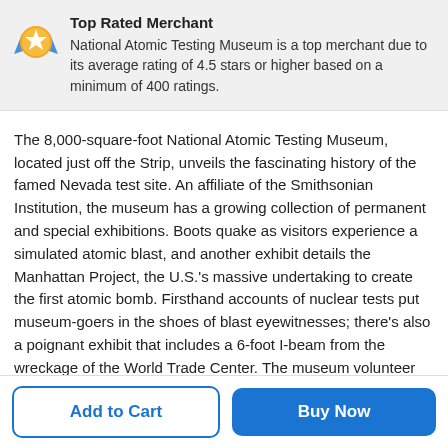[Figure (infographic): Medal icon: blue ribbon with gold star medal, representing Top Rated Merchant award]
Top Rated Merchant
National Atomic Testing Museum is a top merchant due to its average rating of 4.5 stars or higher based on a minimum of 400 ratings.
The 8,000-square-foot National Atomic Testing Museum, located just off the Strip, unveils the fascinating history of the famed Nevada test site. An affiliate of the Smithsonian Institution, the museum has a growing collection of permanent and special exhibitions. Boots quake as visitors experience a simulated atomic blast, and another exhibit details the Manhattan Project, the U.S.'s massive undertaking to create the first atomic bomb. Firsthand accounts of nuclear tests put museum-goers in the shoes of blast eyewitnesses; there's also a poignant exhibit that includes a 6-foot I-beam from the wreckage of the World Trade Center. The museum volunteer tour guides act as exhibit interpreters, encouraging hands-on exploration and teaching how to divide atoms using nothing more than a good set of kitchen cutlery.
Add to Cart
Buy Now